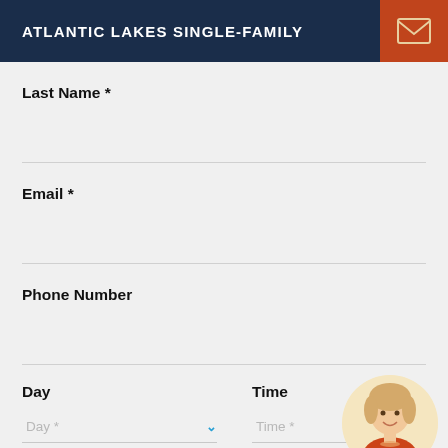ATLANTIC LAKES SINGLE-FAMILY
Last Name *
Email *
Phone Number
Day
Time
Day *
Time *
Questions?